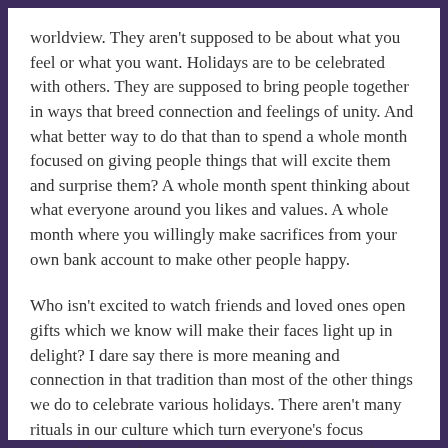worldview.  They aren't supposed to be about what you feel or what you want.  Holidays are to be celebrated with others.  They are supposed to bring people together in ways that breed connection and feelings of unity.  And what better way to do that than to spend a whole month focused on giving people things that will excite them and surprise them?  A whole month spent thinking about what everyone around you likes and values.  A whole month where you willingly make sacrifices from your own bank account to make other people happy.
Who isn't excited to watch friends and loved ones open gifts which we know will make their faces light up in delight?  I dare say there is more meaning and connection in that tradition than most of the other things we do to celebrate various holidays.  There aren't many rituals in our culture which turn everyone's focus towards how to bring joy to the people they care about.